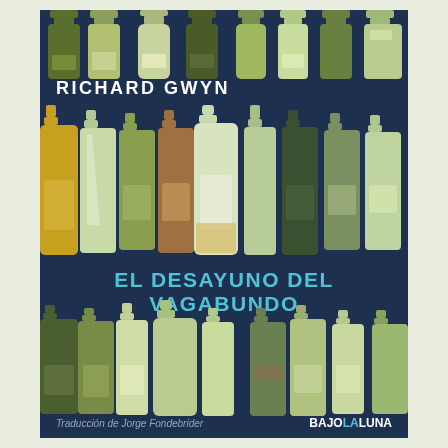[Figure (illustration): Book cover for 'El Desayuno del Vagabundo' by Richard Gwyn. Dark navy blue background with rows of illustrated wine bottles in various shades of green, yellow, and cream. Top row partially visible at top edge, middle row of larger bottles center-left, bottom row of bottles below the title. Author name 'RICHARD GWYN' in white bold caps at top. Title 'EL DESAYUNO DEL VAGABUNDO' in teal/cyan bold caps in the middle. Bottom footer shows translator 'Traducción de Jorge Fondebrider' and publisher 'BAJOLALUNA'.]